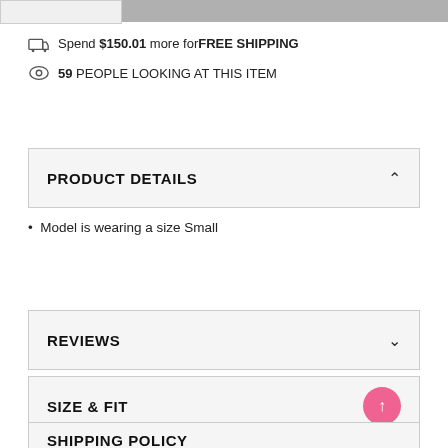Spend $150.01 more for FREE SHIPPING
59 PEOPLE LOOKING AT THIS ITEM
PRODUCT DETAILS
Model is wearing a size Small
REVIEWS
SIZE & FIT
SHIPPING POLICY